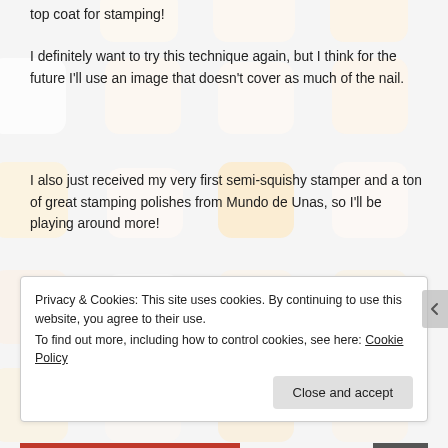top coat for stamping!
[Figure (illustration): Grid of rounded square nail polish swatches in cream, white, and light orange/peach tones arranged in a repeating pattern background]
I definitely want to try this technique again, but I think for the future I'll use an image that doesn't cover as much of the nail.
I also just received my very first semi-squishy stamper and a ton of great stamping polishes from Mundo de Unas, so I'll be playing around more!
Privacy & Cookies: This site uses cookies. By continuing to use this website, you agree to their use.
To find out more, including how to control cookies, see here: Cookie Policy
Close and accept